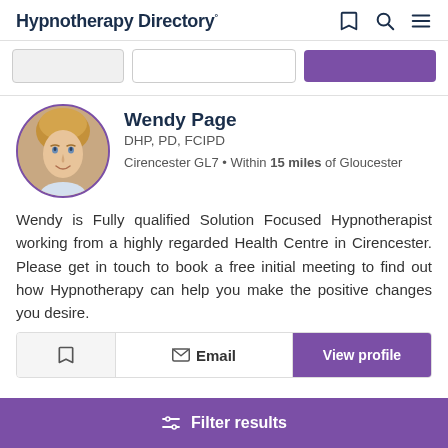Hypnotherapy Directory
[Figure (screenshot): Search bar with two input fields and a purple search button]
Wendy Page
DHP, PD, FCIPD
Cirencester GL7 • Within 15 miles of Gloucester
Wendy is Fully qualified Solution Focused Hypnotherapist working from a highly regarded Health Centre in Cirencester. Please get in touch to book a free initial meeting to find out how Hypnotherapy can help you make the positive changes you desire.
Email  View profile
Filter results